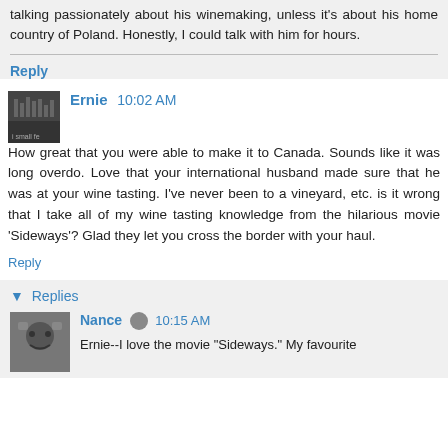talking passionately about his winemaking, unless it's about his home country of Poland. Honestly, I could talk with him for hours.
Reply
Ernie  10:02 AM
How great that you were able to make it to Canada. Sounds like it was long overdo. Love that your international husband made sure that he was at your wine tasting. I've never been to a vineyard, etc. is it wrong that I take all of my wine tasting knowledge from the hilarious movie 'Sideways'? Glad they let you cross the border with your haul.
Reply
▼ Replies
Nance  10:15 AM
Ernie--I love the movie "Sideways." My favourite